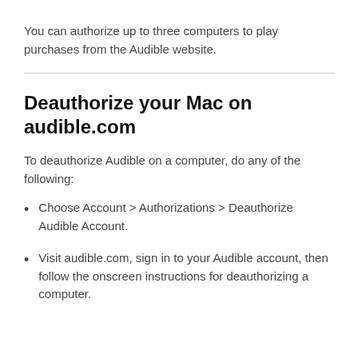You can authorize up to three computers to play purchases from the Audible website.
Deauthorize your Mac on audible.com
To deauthorize Audible on a computer, do any of the following:
Choose Account > Authorizations > Deauthorize Audible Account.
Visit audible.com, sign in to your Audible account, then follow the onscreen instructions for deauthorizing a computer.